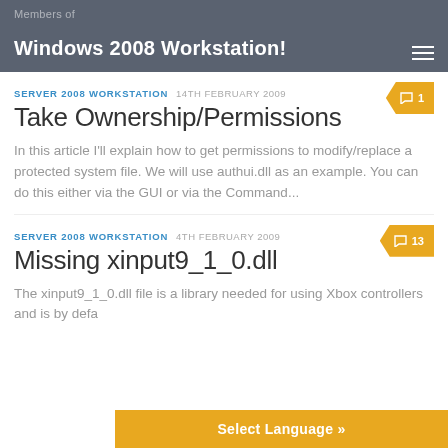Members of Windows 2008 Workstation!
SERVER 2008 WORKSTATION  14TH FEBRUARY 2009
Take Ownership/Permissions
In this article I'll explain how to get permissions to modify/replace a protected system file. We will use authui.dll as an example. You can do this either via the GUI or via the Command...
SERVER 2008 WORKSTATION  4TH FEBRUARY 2009
Missing xinput9_1_0.dll
The xinput9_1_0.dll file is a library needed for using Xbox controllers and is by defa... Windows...
Select Language »